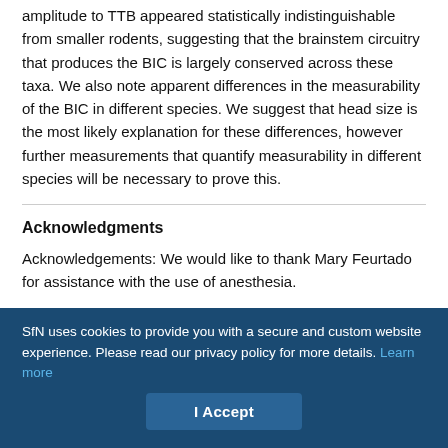amplitude to TTB appeared statistically indistinguishable from smaller rodents, suggesting that the brainstem circuitry that produces the BIC is largely conserved across these taxa. We also note apparent differences in the measurability of the BIC in different species. We suggest that head size is the most likely explanation for these differences, however further measurements that quantify measurability in different species will be necessary to prove this.
Acknowledgments
Acknowledgements: We would like to thank Mary Feurtado for assistance with the use of anesthesia.
SfN uses cookies to provide you with a secure and custom website experience. Please read our privacy policy for more details. Learn more